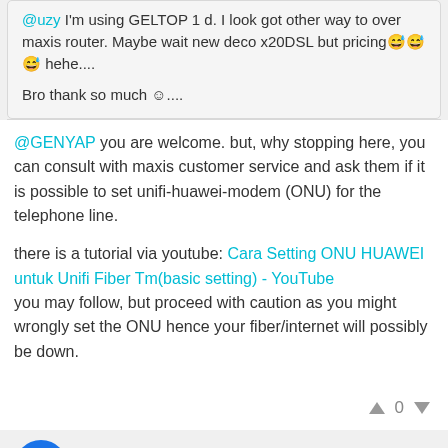@uzy I'm using GELTOP 1 d. I look got other way to over maxis router. Maybe wait new deco x20DSL but pricing😅😅😅 hehe....

Bro thank so much ☺....
@GENYAP you are welcome. but, why stopping here, you can consult with maxis customer service and ask them if it is possible to set unifi-huawei-modem (ONU) for the telephone line.

there is a tutorial via youtube: Cara Setting ONU HUAWEI untuk Unifi Fiber Tm(basic setting) - YouTube
you may follow, but proceed with caution as you might wrongly set the ONU hence your fiber/internet will possibly be down.
Related Articles